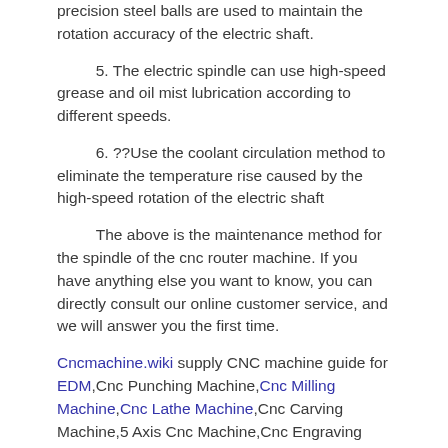precision steel balls are used to maintain the rotation accuracy of the electric shaft.
5. The electric spindle can use high-speed grease and oil mist lubrication according to different speeds.
6. ??Use the coolant circulation method to eliminate the temperature rise caused by the high-speed rotation of the electric shaft
The above is the maintenance method for the spindle of the cnc router machine. If you have anything else you want to know, you can directly consult our online customer service, and we will answer you the first time.
Cncmachine.wiki supply CNC machine guide for EDM,Cnc Punching Machine,Cnc Milling Machine,Cnc Lathe Machine,Cnc Carving Machine,5 Axis Cnc Machine,Cnc Engraving Machine,Laser Cnc Machine,Metal Cnc Machine,CNC Bending Machine